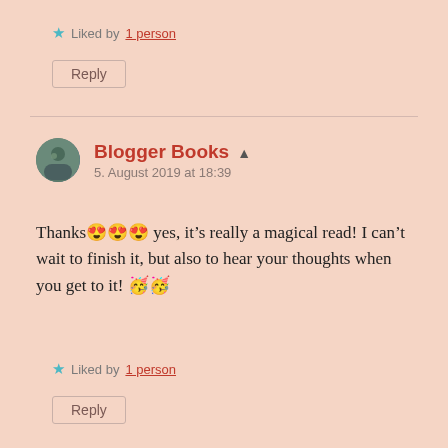★ Liked by 1 person
Reply
Blogger Books ▲
5. August 2019 at 18:39
Thanks 😍😍😍 yes, it's really a magical read! I can't wait to finish it, but also to hear your thoughts when you get to it! 🥳🥳
★ Liked by 1 person
Reply